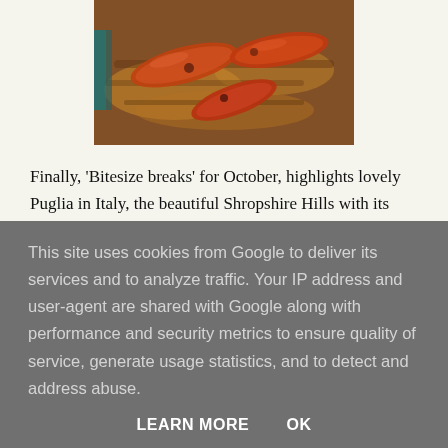[Figure (photo): Close-up food photo showing grilled or roasted sausages with caramelized onions on a wooden surface, warm orange and brown tones]
Finally, 'Bitesize breaks' for October, highlights lovely Puglia in Italy, the beautiful Shropshire Hills with its nearby foodie capital, Ludlow (below), Languedoc in France and the Icelandic capital Reykjavik. "Weekender"
This site uses cookies from Google to deliver its services and to analyze traffic. Your IP address and user-agent are shared with Google along with performance and security metrics to ensure quality of service, generate usage statistics, and to detect and address abuse.
LEARN MORE   OK